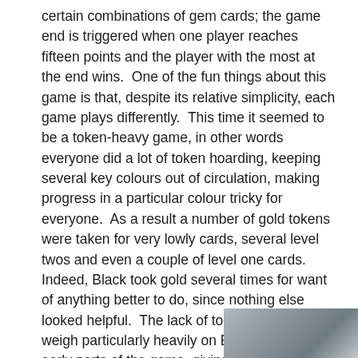certain combinations of gem cards; the game end is triggered when one player reaches fifteen points and the player with the most at the end wins.  One of the fun things about this game is that, despite its relative simplicity, each game plays differently.  This time it seemed to be a token-heavy game, in other words everyone did a lot of token hoarding, keeping several key colours out of circulation, making progress in a particular colour tricky for everyone.  As a result a number of gold tokens were taken for very lowly cards, several level twos and even a couple of level one cards. Indeed, Black took gold several times for want of anything better to do, since nothing else looked helpful.  The lack of tokens seemed to weigh particularly heavily on Burgundy in the early parts of the game, giving Black and Green a little optimism that maybe this time they might be able to topple him for the first time in four games.
[Figure (photo): Partial photo of a board game, cropped at the bottom right of the page.]